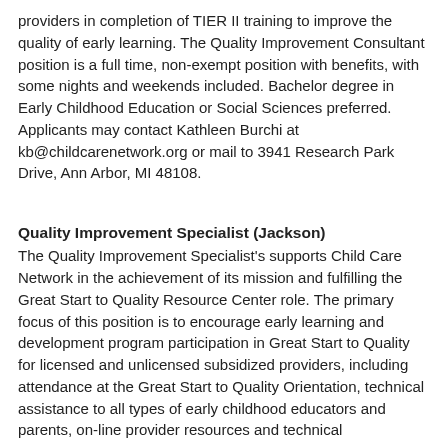providers in completion of TIER II training to improve the quality of early learning. The Quality Improvement Consultant position is a full time, non-exempt position with benefits, with some nights and weekends included. Bachelor degree in Early Childhood Education or Social Sciences preferred.
Applicants may contact Kathleen Burchi at kb@childcarenetwork.org or mail to 3941 Research Park Drive, Ann Arbor, MI 48108.
Quality Improvement Specialist (Jackson)
The Quality Improvement Specialist's supports Child Care Network in the achievement of its mission and fulfilling the Great Start to Quality Resource Center role. The primary focus of this position is to encourage early learning and development program participation in Great Start to Quality for licensed and unlicensed subsidized providers, including attendance at the Great Start to Quality Orientation, technical assistance to all types of early childhood educators and parents, on-line provider resources and technical